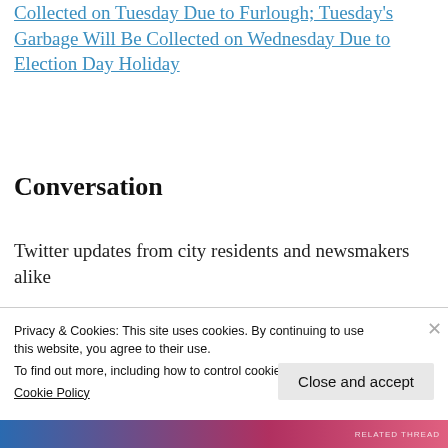Collected on Tuesday Due to Furlough; Tuesday's Garbage Will Be Collected on Wednesday Due to Election Day Holiday
Conversation
Twitter updates from city residents and newsmakers alike
I recommend CoryBooker for
Privacy & Cookies: This site uses cookies. By continuing to use this website, you agree to their use.
To find out more, including how to control cookies, see here:
Cookie Policy